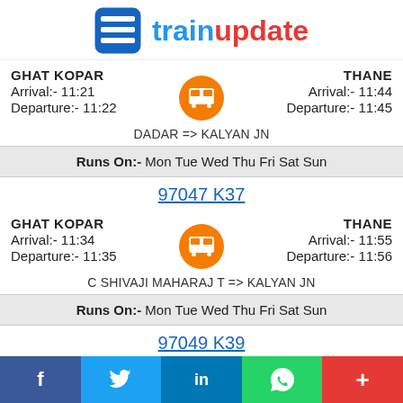trainupdate
GHAT KOPAR | Arrival:- 11:21 | Departure:- 11:22 | THANE | Arrival:- 11:44 | Departure:- 11:45
DADAR => KALYAN JN
Runs On:- Mon Tue Wed Thu Fri Sat Sun
97047 K37
GHAT KOPAR | Arrival:- 11:34 | Departure:- 11:35 | THANE | Arrival:- 11:55 | Departure:- 11:56
C SHIVAJI MAHARAJ T => KALYAN JN
Runs On:- Mon Tue Wed Thu Fri Sat Sun
97049 K39
f  Twitter  in  WhatsApp  +